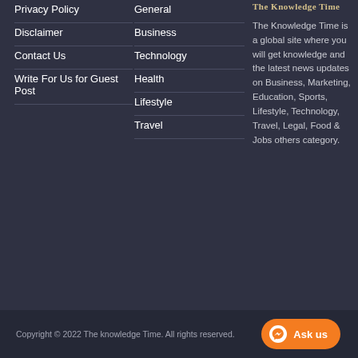Privacy Policy
Disclaimer
Contact Us
Write For Us for Guest Post
General
Business
Technology
Health
Lifestyle
Travel
The Knowledge Time
The Knowledge Time is a global site where you will get knowledge and the latest news updates on Business, Marketing, Education, Sports, Lifestyle, Technology, Travel, Legal, Food & Jobs others category.
Copyright © 2022 The knowledge Time. All rights reserved.